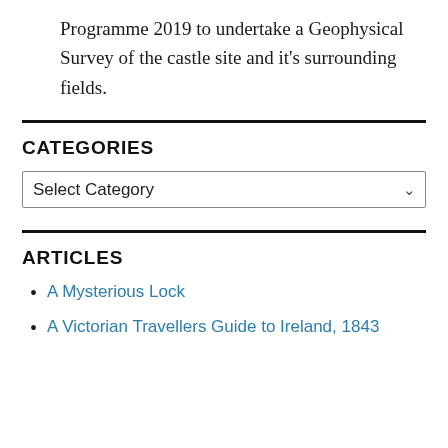Programme 2019 to undertake a Geophysical Survey of the castle site and it’s surrounding fields.
CATEGORIES
Select Category
ARTICLES
A Mysterious Lock
A Victorian Travellers Guide to Ireland, 1843